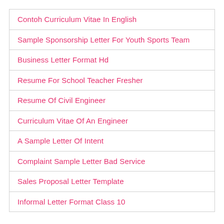Contoh Curriculum Vitae In English
Sample Sponsorship Letter For Youth Sports Team
Business Letter Format Hd
Resume For School Teacher Fresher
Resume Of Civil Engineer
Curriculum Vitae Of An Engineer
A Sample Letter Of Intent
Complaint Sample Letter Bad Service
Sales Proposal Letter Template
Informal Letter Format Class 10